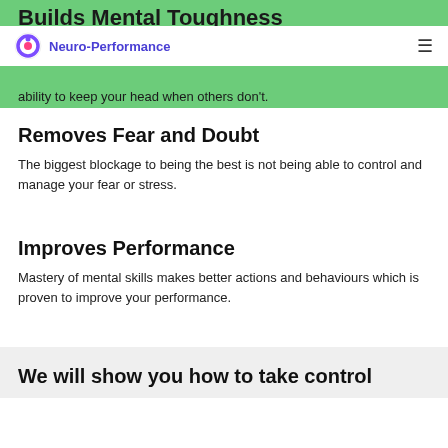Builds Mental Toughness
Sporting success needs determination, resilience and the ability to keep your head when others don't.
[Figure (logo): Neuro-Performance logo with purple circular icon and brand name in blue/purple text, navigation bar with hamburger menu]
Removes Fear and Doubt
The biggest blockage to being the best is not being able to control and manage your fear or stress.
Improves Performance
Mastery of mental skills makes better actions and behaviours which is proven to improve your performance.
We will show you how to take control